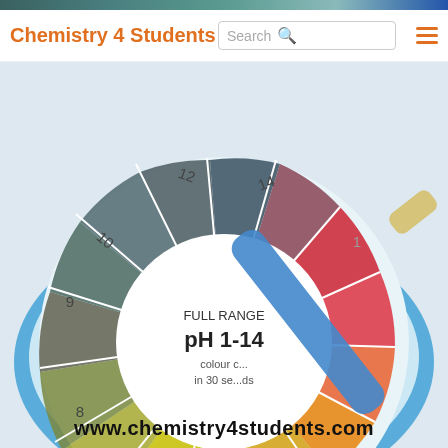Chemistry 4 Students
[Figure (photo): A circular pH indicator paper roll/dispenser showing full range pH 1-14 colour chart, with a blue litmus strip laid across it. The circular chart shows colour segments from red (pH 1) through orange, yellow, green, to dark green/teal (pH 14). Text on center reads 'FULL RANGE pH 1-14 colour c... in 30 se...ds'. Numbers 1,5,6,7,8,9,10,12,14 are visible around the ring.]
www.chemistry4students.com